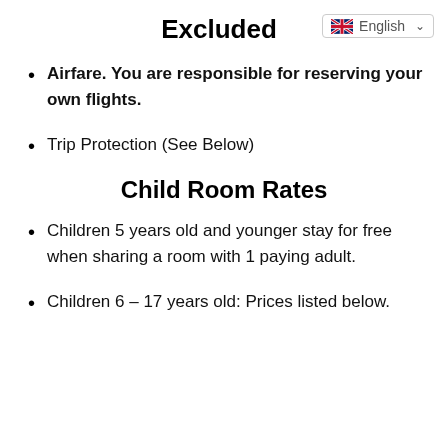Excluded
Airfare. You are responsible for reserving your own flights.
Trip Protection (See Below)
Child Room Rates
Children 5 years old and younger stay for free when sharing a room with 1 paying adult.
Children 6 – 17 years old: Prices listed below.